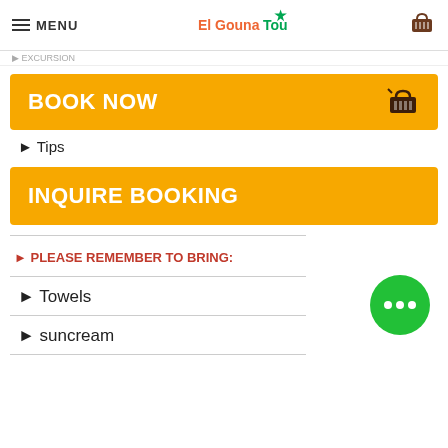MENU | El Gouna Tours logo | cart icon
▶ EXCURSION
BOOK NOW
▶ Tips
INQUIRE BOOKING
▶ PLEASE REMEMBER TO BRING:
▶ Towels
▶ suncream